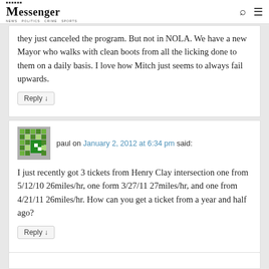Messenger
they just canceled the program. But not in NOLA. We have a new Mayor who walks with clean boots from all the licking done to them on a daily basis. I love how Mitch just seems to always fail upwards.
Reply
paul on January 2, 2012 at 6:34 pm said:
I just recently got 3 tickets from Henry Clay intersection one from 5/12/10 26miles/hr, one form 3/27/11 27miles/hr, and one from 4/21/11 26miles/hr. How can you get a ticket from a year and half ago?
Reply